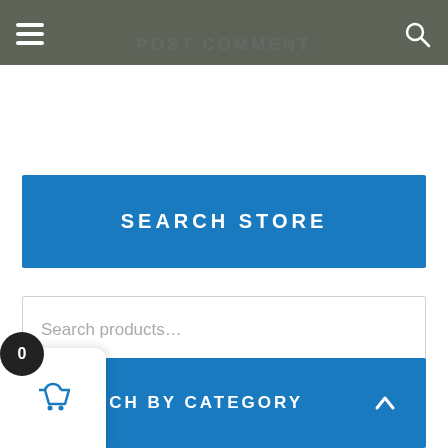POST COMMENT
[Figure (screenshot): Navigation bar with hamburger menu icon on left and search icon on right, gray background]
SEARCH STORE
Search products...
SEARCH
SEARCH BY CATEGORY